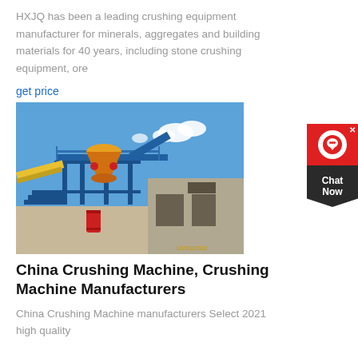HXJQ has been a leading crushing equipment manufacturer for minerals, aggregates and building materials for 40 years, including stone crushing equipment, ore
get price
[Figure (photo): Outdoor industrial crushing plant with blue steel structure, orange cone crusher, conveyor belts, and a concrete building on a construction site. Timestamp reads 10/20/2012.]
China Crushing Machine, Crushing Machine Manufacturers
China Crushing Machine manufacturers Select 2021 high quality